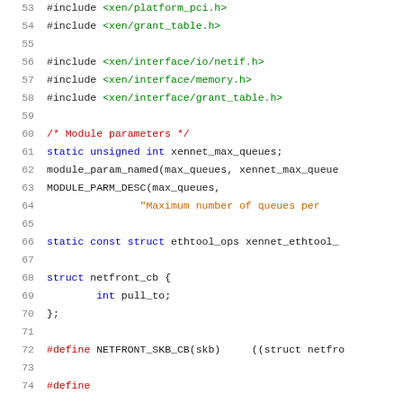Source code listing lines 53-74, C language kernel/driver code for xen netfront
[Figure (screenshot): C source code snippet showing include directives, module parameters, struct definition, and macro definitions for a Xen network frontend driver (xennet). Lines 53-74 visible. Uses syntax highlighting: green for #include paths, red for comments and #define keywords, blue for C keywords, and black/default for identifiers.]